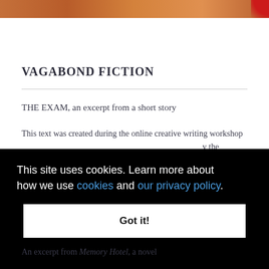[Figure (photo): Top portion of a book cover image with warm orange/brown tones and a red badge in top-right corner]
VAGABOND FICTION
THE EXAM, an excerpt from a short story
This text was created during the online creative writing workshop ... by the
This site uses cookies. Learn more about how we use cookies and our privacy policy.
Got it!
An excerpt from Memory Hotel, a novel